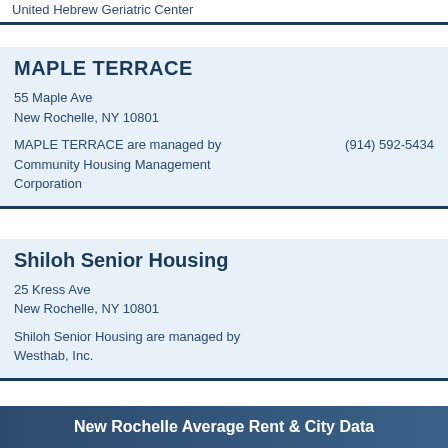United Hebrew Geriatric Center
MAPLE TERRACE
55 Maple Ave
New Rochelle, NY 10801
MAPLE TERRACE are managed by Community Housing Management Corporation
(914) 592-5434
Shiloh Senior Housing
25 Kress Ave
New Rochelle, NY 10801
Shiloh Senior Housing are managed by Westhab, Inc.
New Rochelle Average Rent & City Data